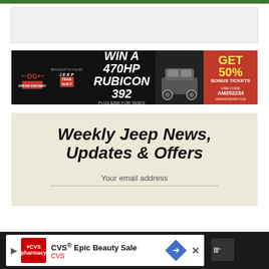[Figure (screenshot): Grey header placeholder bar at top of webpage]
[Figure (infographic): Jeep Dream Giveaway advertisement: WIN A 470HP RUBICON 392. GET 50% BONUS TICKETS. USE CODE AM202234.]
Weekly Jeep News, Updates & Offers
Your email address
[Figure (infographic): CVS Epic Beauty Sale advertisement banner at bottom of screen with navigation icon]